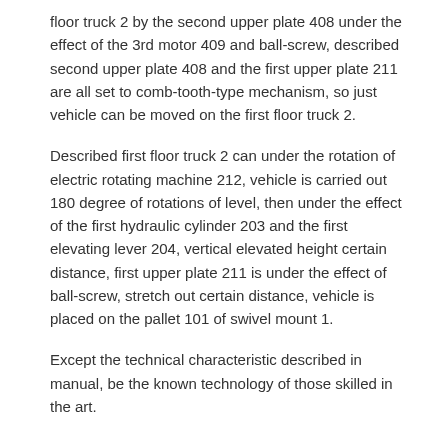floor truck 2 by the second upper plate 408 under the effect of the 3rd motor 409 and ball-screw, described second upper plate 408 and the first upper plate 211 are all set to comb-tooth-type mechanism, so just vehicle can be moved on the first floor truck 2.
Described first floor truck 2 can under the rotation of electric rotating machine 212, vehicle is carried out 180 degree of rotations of level, then under the effect of the first hydraulic cylinder 203 and the first elevating lever 204, vertical elevated height certain distance, first upper plate 211 is under the effect of ball-screw, stretch out certain distance, vehicle is placed on the pallet 101 of swivel mount 1.
Except the technical characteristic described in manual, be the known technology of those skilled in the art.
Cited By (2)
| Publication number | Priority date | Publication date | Ass |
| --- | --- | --- | --- |